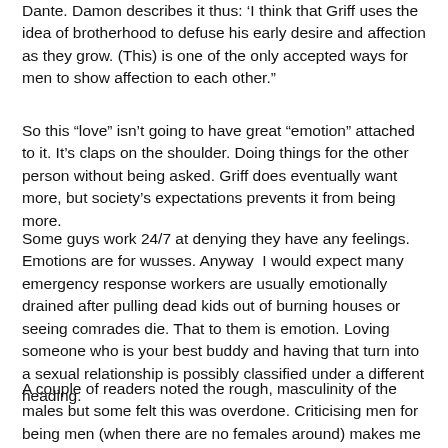Dante. Damon describes it thus: 'I think that Griff uses the idea of brotherhood to defuse his early desire and affection as they grow. (This) is one of the only accepted ways for men to show affection to each other.'
So this “love” isn’t going to have great “emotion” attached to it. It’s claps on the shoulder. Doing things for the other person without being asked. Griff does eventually want more, but society’s expectations prevents it from being more.
Some guys work 24/7 at denying they have any feelings. Emotions are for wusses. Anyway I would expect many emergency response workers are usually emotionally drained after pulling dead kids out of burning houses or seeing comrades die. That to them is emotion. Loving someone who is your best buddy and having that turn into a sexual relationship is possibly classified under a different heading.
A couple of readers noted the rough, masculinity of the males but some felt this was overdone. Criticising men for being men (when there are no females around) makes me shudder. No wonder they like to escape from the finger wagglers. Perhaps they are this way